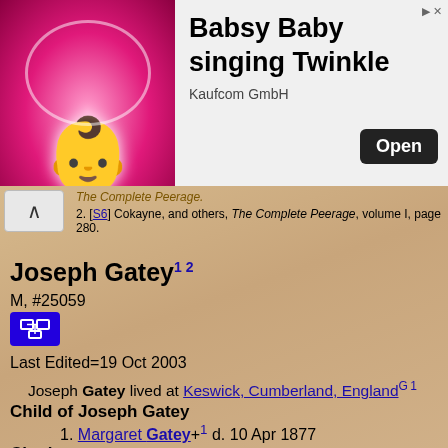[Figure (photo): Advertisement banner for 'Babsy Baby singing Twinkle' by Kaufcom GmbH showing a cartoon baby on pink background with an Open button]
The Complete Peerage.
[S6] Cokayne, and others, The Complete Peerage, volume I, page 280.
Joseph Gatey
M, #25059
Last Edited=19 Oct 2003
Joseph Gatey lived at Keswick, Cumberland, England
Child of Joseph Gatey
1. Margaret Gatey+ d. 10 Apr 1877
Citations